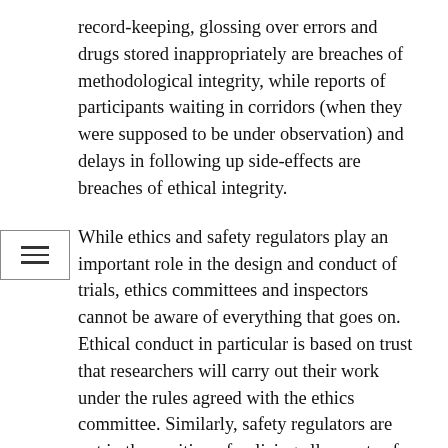record-keeping, glossing over errors and drugs stored inappropriately are breaches of methodological integrity, while reports of participants waiting in corridors (when they were supposed to be under observation) and delays in following up side-effects are breaches of ethical integrity.

While ethics and safety regulators play an important role in the design and conduct of trials, ethics committees and inspectors cannot be aware of everything that goes on. Ethical conduct in particular is based on trust that researchers will carry out their work under the rules agreed with the ethics committee. Similarly, safety regulators are not in the position of policing all aspects of trials. In this case, while the US regulator (the Food and Drug Administration) was reportedly trying to monitor the trial, it only inspected nine out of 153 sites, not including any of the Ventavia